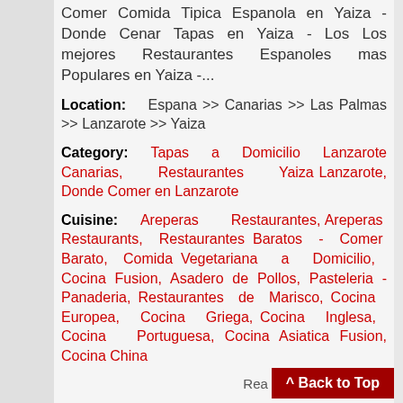Comer Comida Tipica Espanola en Yaiza - Donde Cenar Tapas en Yaiza - Los Los mejores Restaurantes Espanoles mas Populares en Yaiza -...
Location: Espana >> Canarias >> Las Palmas >> Lanzarote >> Yaiza
Category: Tapas a Domicilio Lanzarote Canarias, Restaurantes Yaiza Lanzarote, Donde Comer en Lanzarote
Cuisine: Areperas Restaurantes, Areperas Restaurants, Restaurantes Baratos - Comer Barato, Comida Vegetariana a Domicilio, Cocina Fusion, Asadero de Pollos, Pasteleria - Panaderia, Restaurantes de Marisco, Cocina Europea, Cocina Griega, Cocina Inglesa, Cocina Portuguesa, Cocina Asiatica Fusion, Cocina China
Page Visits: 461949
Rea... ^ Back to Top